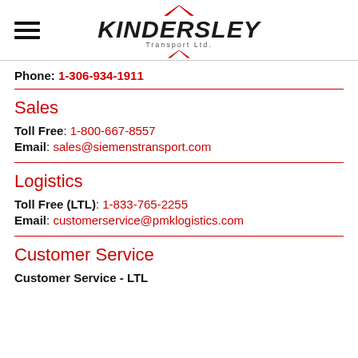[Figure (logo): Kindersley Transport Ltd. logo with red chevron/arrow marks above and below the company name in bold italic font]
Phone: 1-306-934-1911
Sales
Toll Free: 1-800-667-8557
Email: sales@siemenstransport.com
Logistics
Toll Free (LTL): 1-833-765-2255
Email: customerservice@pmklogistics.com
Customer Service
Customer Service - LTL